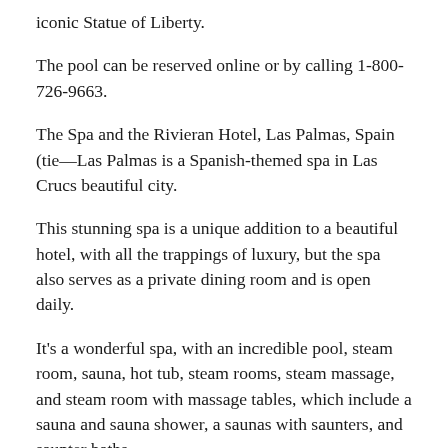iconic Statue of Liberty.
The pool can be reserved online or by calling 1-800-726-9663.
The Spa and the Rivieran Hotel, Las Palmas, Spain (tie—Las Palmas is a Spanish-themed spa in Las Crucs beautiful city.
This stunning spa is a unique addition to a beautiful hotel, with all the trappings of luxury, but the spa also serves as a private dining room and is open daily.
It's a wonderful spa, with an incredible pool, steam room, sauna, hot tub, steam rooms, steam massage, and steam room with massage tables, which include a sauna and sauna shower, a saunas with saunters, and saunter baths.
Guests have access to the spa's spa-like, luxury facilities, including a private room with private bath and shower, as well as a spa-style bar and a private sauna with sauna showers and saurings.